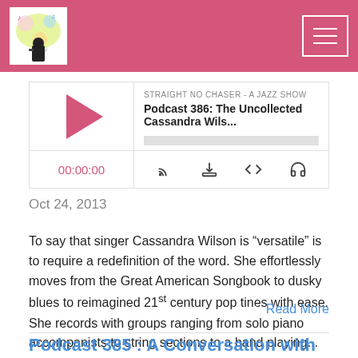[Figure (logo): Straight No Chaser jazz show logo with colorful splash art and musician silhouette]
[Figure (screenshot): Audio player widget showing episode 'Podcast 386: The Uncollected Cassandra Wils...' from STRAIGHT NO CHASER - A JAZZ SHOW, with play button, progress bar, time display 00:00:00, and control icons]
Oct 24, 2013
To say that singer Cassandra Wilson is “versatile” is to require a redefinition of the word. She effortlessly moves from the Great American Songbook to dusky blues to reimagined 21st century pop tines with ease. She records with groups ranging from solo piano accompanists to string sections to a band playing...
Read More
Podcast 385 : A Conversation with Alexis Cuadrado